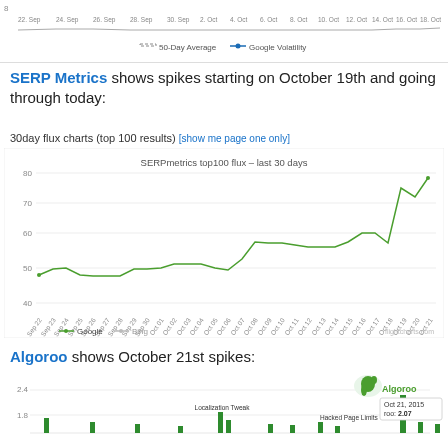[Figure (line-chart): Top strip showing a partial line chart with '50-Day Average' and 'Google Volatility' legend, dates along x-axis from Sep 22 to Oct 21]
SERP Metrics shows spikes starting on October 19th and going through today:
30day flux charts (top 100 results) [show me page one only]
[Figure (line-chart): SERPmetrics top100 flux – last 30 days]
Algoroo shows October 21st spikes:
[Figure (bar-chart): Algoroo bar chart showing Google algorithm changes, with spike on Oct 21 2015 (roo: 2.07), Localization Tweak and Hacked Page Limits annotations visible, y-axis shows 1.8 and 2.4 values]